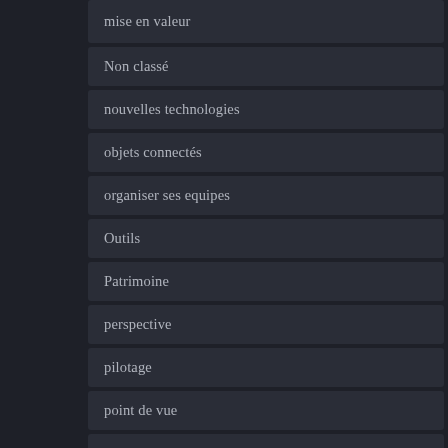mise en valeur
Non classé
nouvelles technologies
objets connectés
organiser ses equipes
Outils
Patrimoine
perspective
pilotage
point de vue
pratique
preparer un entretien d'embauche